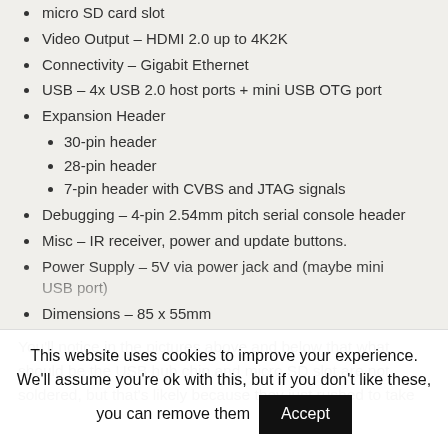micro SD card slot
Video Output – HDMI 2.0 up to 4K2K
Connectivity – Gigabit Ethernet
USB – 4x USB 2.0 host ports + mini USB OTG port
Expansion Header
30-pin header
28-pin header
7-pin header with CVBS and JTAG signals
Debugging – 4-pin 2.54mm pitch serial console header
Misc – IR receiver, power and update buttons.
Power Supply – 5V via power jack and (maybe mini USB port)
Dimensions – 85 x 55mm
You'll notice in the pictures above and below that what should be the USB hub chip and micro SD slot are not soldered, but that's likely because they just rushed to take
This website uses cookies to improve your experience. We'll assume you're ok with this, but if you don't like these, you can remove them